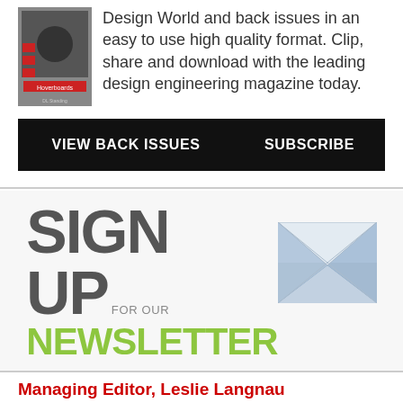Design World and back issues in an easy to use high quality format. Clip, share and download with the leading design engineering magazine today.
VIEW BACK ISSUES
SUBSCRIBE
[Figure (infographic): Sign Up For Our Newsletter graphic with large gray SIGN UP text, green NEWSLETTER text, and an envelope icon with an industrial scene image]
Managing Editor, Leslie Langnau
Leslie Langnau is the Managing Editor of